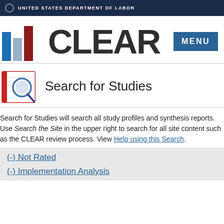UNITED STATES DEPARTMENT OF LABOR
[Figure (logo): CLEAR logo with bar chart icon and MENU button]
Search for Studies
Search for Studies will search all study profiles and synthesis reports. Use Search the Site in the upper right to search for all site content such as the CLEAR review process. View Help using this Search.
(-) Not Rated
(-) Implementation Analysis